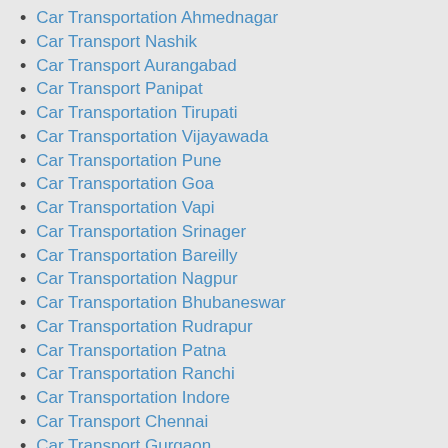Car Transportation Ahmednagar
Car Transport Nashik
Car Transport Aurangabad
Car Transport Panipat
Car Transportation Tirupati
Car Transportation Vijayawada
Car Transportation Pune
Car Transportation Goa
Car Transportation Vapi
Car Transportation Srinager
Car Transportation Bareilly
Car Transportation Nagpur
Car Transportation Bhubaneswar
Car Transportation Rudrapur
Car Transportation Patna
Car Transportation Ranchi
Car Transportation Indore
Car Transport Chennai
Car Transport Gurgaon
Car Transport Gurgaon
Car Transportation Hisar
Car Transportation Jalandhar
Car Transportation Muzaffarnagar